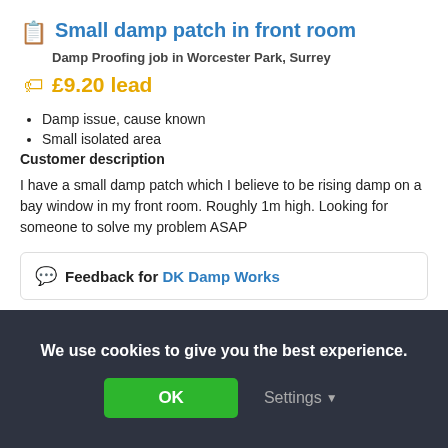Small damp patch in front room
Damp Proofing job in Worcester Park, Surrey
£9.20 lead
Damp issue, cause known
Small isolated area
Customer description
I have a small damp patch which I believe to be rising damp on a bay window in my front room. Roughly 1m high. Looking for someone to solve my problem ASAP
Feedback for DK Damp Works
We use cookies to give you the best experience.